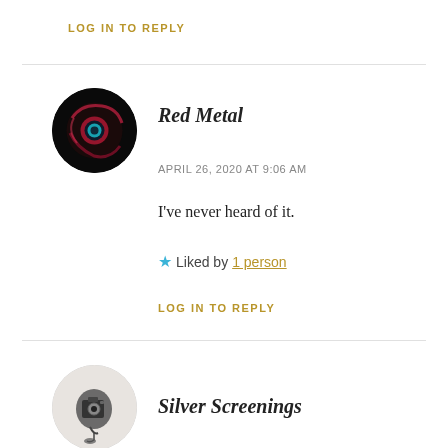LOG IN TO REPLY
[Figure (photo): Circular avatar for user Red Metal, showing a dark sci-fi orb/eye with red and cyan elements on black background]
Red Metal
APRIL 26, 2020 AT 9:06 AM
I've never heard of it.
★ Liked by 1 person
LOG IN TO REPLY
[Figure (photo): Circular avatar for user Silver Screenings, showing a vintage movie camera or reel on light background]
Silver Screenings